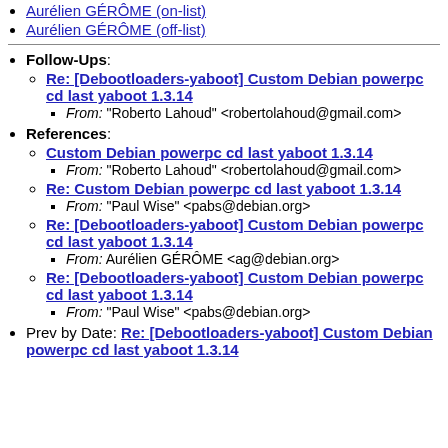Aurélien GÉRÔME (on-list)
Aurélien GÉRÔME (off-list)
Follow-Ups: Re: [Debootloaders-yaboot] Custom Debian powerpc cd last yaboot 1.3.14 — From: "Roberto Lahoud" <robertolahoud@gmail.com>
References: Custom Debian powerpc cd last yaboot 1.3.14 — From: "Roberto Lahoud" <robertolahoud@gmail.com>
Re: Custom Debian powerpc cd last yaboot 1.3.14 — From: "Paul Wise" <pabs@debian.org>
Re: [Debootloaders-yaboot] Custom Debian powerpc cd last yaboot 1.3.14 — From: Aurélien GÉRÔME <ag@debian.org>
Re: [Debootloaders-yaboot] Custom Debian powerpc cd last yaboot 1.3.14 — From: "Paul Wise" <pabs@debian.org>
Prev by Date: Re: [Debootloaders-yaboot] Custom Debian powerpc cd last yaboot 1.3.14